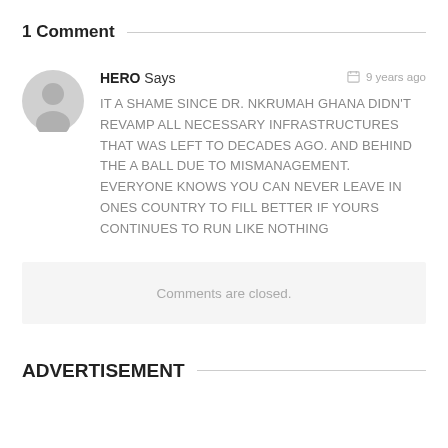1 Comment
HERO Says 9 years ago
IT A SHAME SINCE DR. NKRUMAH GHANA DIDN'T REVAMP ALL NECESSARY INFRASTRUCTURES THAT WAS LEFT TO DECADES AGO. AND BEHIND THE A BALL DUE TO MISMANAGEMENT. EVERYONE KNOWS YOU CAN NEVER LEAVE IN ONES COUNTRY TO FILL BETTER IF YOURS CONTINUES TO RUN LIKE NOTHING
Comments are closed.
ADVERTISEMENT